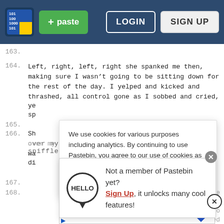Pastebin navigation bar with logo, + paste button, LOGIN and SIGN UP buttons
163.
164. Left, right, left, right she spanked me then, making sure I wasn't going to be sitting down for the rest of the day. I yelped and kicked and thrashed, all control gone as I sobbed and cried, ye
sp
165.
166. Sh
over my sore bottom as I hacked and sniffled
wa
di
We use cookies for various purposes including analytics. By continuing to use Pastebin, you agree to our use of cookies as described in the Cookies Policy. OK, I Understand
Not a member of Pastebin yet? Sign Up, it unlocks many cool features!
Ashburn OPEN 10:30AM-9PM 44155 Ashbrook Marketplace, ...
167.
168.